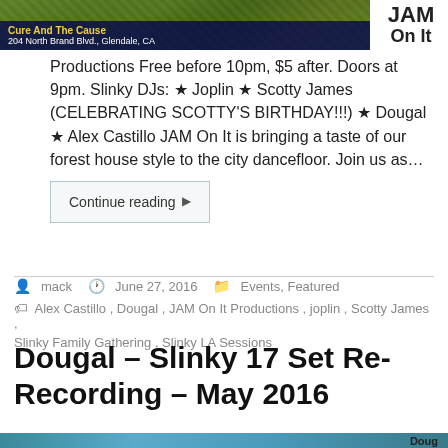[Figure (photo): Event banner image showing a green textured background with a dark blue overlay at bottom reading 'Cure And The Cause' and '204 North Brand Blvd., Glendale, CA']
JAM On It
Productions Free before 10pm, $5 after. Doors at 9pm. Slinky DJs: ★ Joplin ★ Scotty James (CELEBRATING SCOTTY'S BIRTHDAY!!!) ★ Dougal ★ Alex Castillo JAM On It is bringing a taste of our forest house style to the city dancefloor. Join us as…
Continue reading ▶
mack   June 27, 2016   Events, Featured
Alex Castillo , Dougal , JAM On It Productions , joplin , Scotty James , Slinky Family Gathering , Slinky LA Sessions
Dougal – Slinky 17 Set Re-Recording – May 2016
[Figure (photo): Partial bottom strip of a blue/teal photo with text 'Doug' visible on the right]